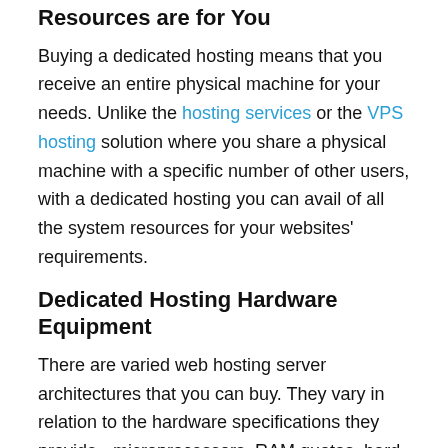Resources are for You
Buying a dedicated hosting means that you receive an entire physical machine for your needs. Unlike the hosting services or the VPS hosting solution where you share a physical machine with a specific number of other users, with a dedicated hosting you can avail of all the system resources for your websites' requirements.
Dedicated Hosting Hardware Equipment
There are varied web hosting server architectures that you can buy. They vary in relation to the hardware specifications they provide - microprocessors, RAM quotas, hard disks, network cards, but they may also include a monthly bandwidth limit. For a very popular web portal, or if you desire to host plenty of portals on a single server, you may think of a more avant-garde architecture.
Running Dedicated? How Much? That's the Ba...